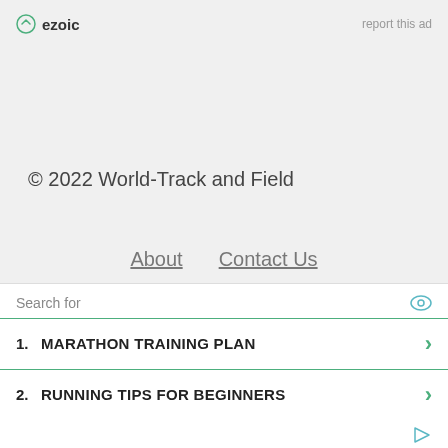ezoic — report this ad
© 2022 World-Track and Field
About
Contact Us
Contribute To World-Track
Home
Links
Search for
1.  MARATHON TRAINING PLAN
2.  RUNNING TIPS FOR BEGINNERS